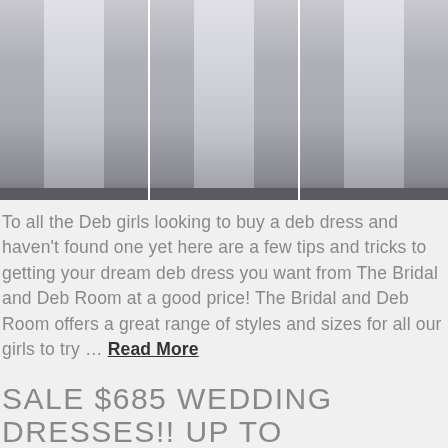[Figure (photo): Three women in white/light blue ballgown dresses, shown from torso to floor, displayed as a triptych of three side-by-side panels]
To all the Deb girls looking to buy a deb dress and haven't found one yet here are a few tips and tricks to getting your dream deb dress you want from The Bridal and Deb Room at a good price! The Bridal and Deb Room offers a great range of styles and sizes for all our girls to try … Read More
SALE $685 WEDDING DRESSES!! UP TO